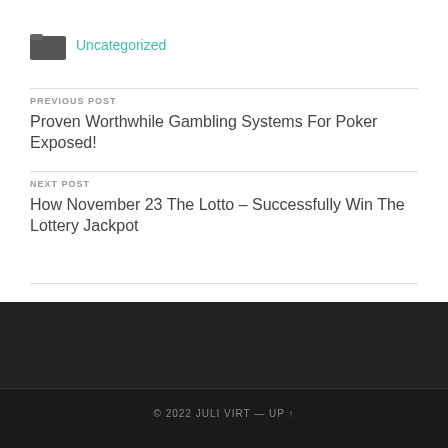Uncategorized
PREVIOUS POST
Proven Worthwhile Gambling Systems For Poker Exposed!
NEXT POST
How November 23 The Lotto – Successfully Win The Lottery Jackpot
© 2022 JULI VIRT — UP ↑